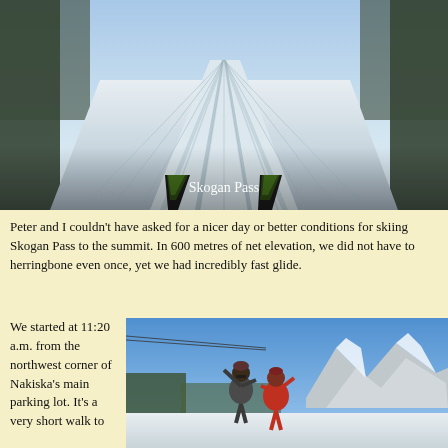[Figure (photo): View from cross-country skier's perspective looking down groomed ski track at Skogan Pass, with ski tips visible in foreground, trees on both sides, snowy trail stretching to horizon. Caption 'Skogan Pass' overlaid on image.]
Peter and I couldn't have asked for a nicer day or better conditions for skiing Skogan Pass to the summit. In 600 metres of net elevation, we did not have to herringbone even once, yet we had incredibly fast glide.
We started at 11:20 a.m. from the northwest corner of Nakiska's main parking lot. It's a very short walk to
[Figure (photo): Two people posing enthusiastically at a mountain summit with dramatic rocky peaks and blue sky behind them, both wearing winter gear, one in red jacket, snow on ground.]